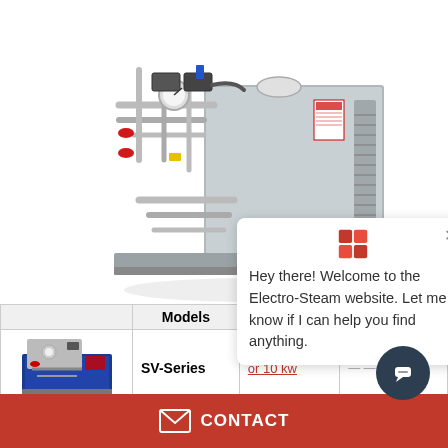[Figure (photo): Industrial electric steam boiler/generator unit, stainless steel cabinet with piping and valves on top, viewed from slight angle]
|  | Models |  |  |
| --- | --- | --- | --- |
| [SV-Series product image] | SV-Series | or 10 kw | [blurred] |
Hey there! Welcome to the Electro-Steam website. Let me know if I can help you find anything.
CONTACT